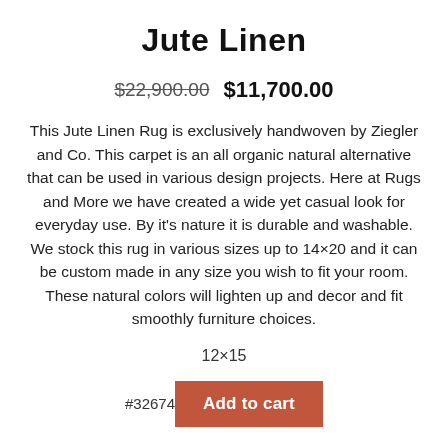Jute Linen
$22,900.00  $11,700.00
This Jute Linen Rug is exclusively handwoven by Ziegler and Co. This carpet is an all organic natural alternative that can be used in various design projects. Here at Rugs and More we have created a wide yet casual look for everyday use. By it's nature it is durable and washable. We stock this rug in various sizes up to 14×20 and it can be custom made in any size you wish to fit your room. These natural colors will lighten up and decor and fit smoothly furniture choices.
12×15
#32674  Add to cart